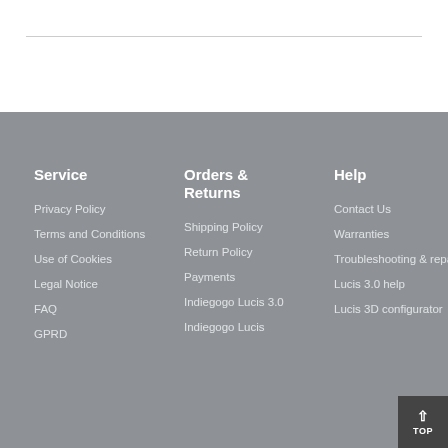Service
Privacy Policy
Terms and Conditions
Use of Cookies
Legal Notice
FAQ
GPRD
Orders & Returns
Shipping Policy
Return Policy
Payments
Indiegogo Lucis 3.0
Indiegogo Lucis
Help
Contact Us
Warranties
Troubleshooting & repair
Lucis 3.0 help
Lucis 3D configurator